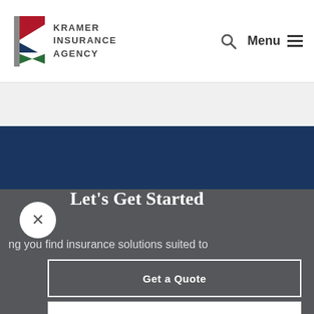[Figure (logo): Kramer Insurance Agency logo with stylized K mark in red, navy, and green]
Kramer Insurance Agency — Menu
Let's Get Started
ng you find insurance solutions suited to
Get a Quote
Call 361-850-1857